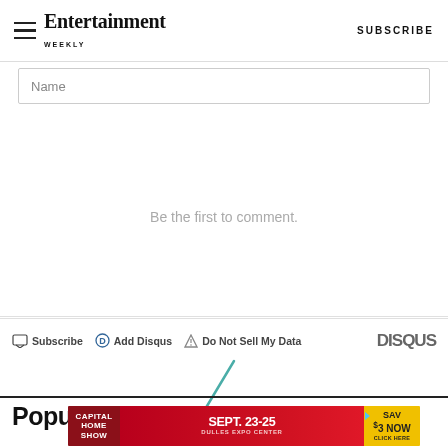Entertainment Weekly — SUBSCRIBE
Name
Be the first to comment.
Subscribe  Add Disqus  Do Not Sell My Data  DISQUS
[Figure (illustration): Decorative diagonal slash/checkmark graphic in teal/dark-green color]
Popular in Article
[Figure (infographic): Capital Home Show advertisement banner: SEPT. 23-25 DULLES EXPO CENTER — SAV $3 NOW CLICK HERE]